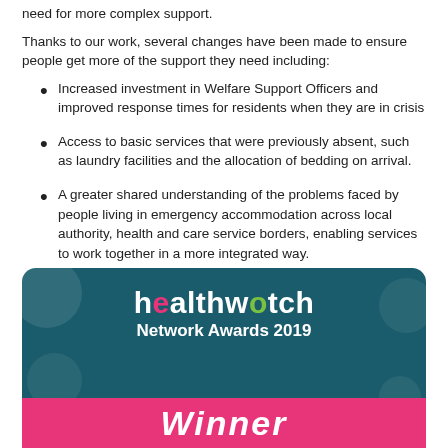need for more complex support.
Thanks to our work, several changes have been made to ensure people get more of the support they need including:
Increased investment in Welfare Support Officers and improved response times for residents when they are in crisis
Access to basic services that were previously absent, such as laundry facilities and the allocation of bedding on arrival.
A greater shared understanding of the problems faced by people living in emergency accommodation across local authority, health and care service borders, enabling services to work together in a more integrated way.
[Figure (logo): Healthwatch Network Awards 2019 Winner banner with teal background and pink accent bar at the bottom showing 'Winner' text]